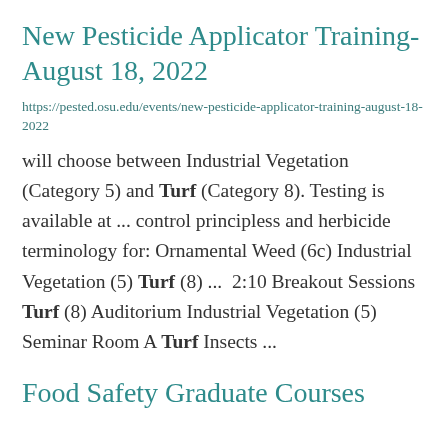New Pesticide Applicator Training- August 18, 2022
https://pested.osu.edu/events/new-pesticide-applicator-training-august-18-2022
will choose between Industrial Vegetation (Category 5) and Turf (Category 8). Testing is available at ... control principless and herbicide terminology for: Ornamental Weed (6c) Industrial Vegetation (5) Turf (8) ...  2:10 Breakout Sessions Turf (8) Auditorium Industrial Vegetation (5) Seminar Room A Turf Insects ...
Food Safety Graduate Courses